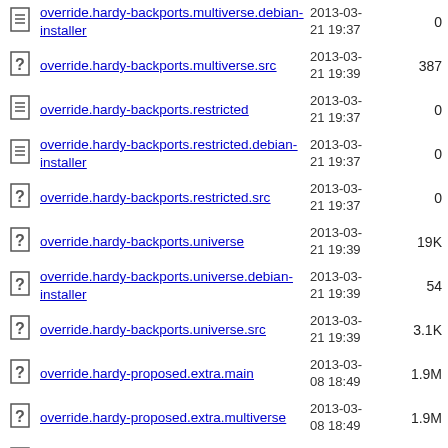override.hardy-backports.multiverse.debian-installer  2013-03-21 19:37  0
override.hardy-backports.multiverse.src  2013-03-21 19:39  387
override.hardy-backports.restricted  2013-03-21 19:37  0
override.hardy-backports.restricted.debian-installer  2013-03-21 19:37  0
override.hardy-backports.restricted.src  2013-03-21 19:37  0
override.hardy-backports.universe  2013-03-21 19:39  19K
override.hardy-backports.universe.debian-installer  2013-03-21 19:39  54
override.hardy-backports.universe.src  2013-03-21 19:39  3.1K
override.hardy-proposed.extra.main  2013-03-08 18:49  1.9M
override.hardy-proposed.extra.multiverse  2013-03-08 18:49  1.9M
override.hardy-proposed.extra.restricted  2013-03-08 18:49  1.9M
override.hardy-  2013-03-